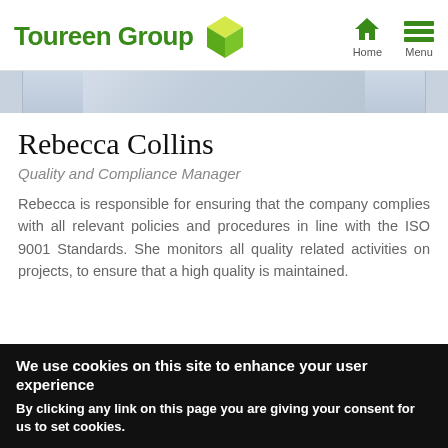Toureen Group
[Figure (photo): Partial photo of a person in a light blue shirt, cropped to show upper body/shoulder area]
Rebecca Collins
Quality and Compliance Manager
Rebecca is responsible for ensuring that the company complies with all relevant policies and procedures in line with the ISO 9001 Standards. She monitors all quality related activities on projects, to ensure that a high quality is maintained.
We use cookies on this site to enhance your user experience
By clicking any link on this page you are giving your consent for us to set cookies.